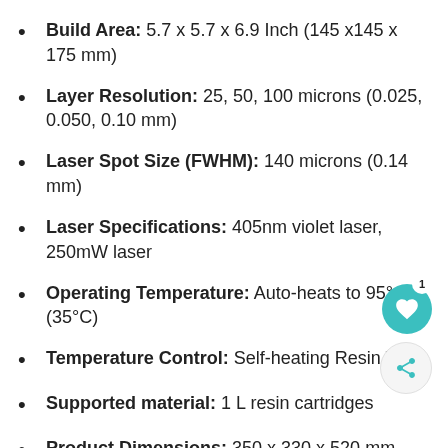Build Area: 5.7 x 5.7 x 6.9 Inch (145 x145 x 175 mm)
Layer Resolution: 25, 50, 100 microns (0.025, 0.050, 0.10 mm)
Laser Spot Size (FWHM): 140 microns (0.14 mm)
Laser Specifications: 405nm violet laser, 250mW laser
Operating Temperature: Auto-heats to 95° F (35°C)
Temperature Control: Self-heating Resin Ta...
Supported material: 1 L resin cartridges
Product Dimensions: 350 x 330 x 520 mm...